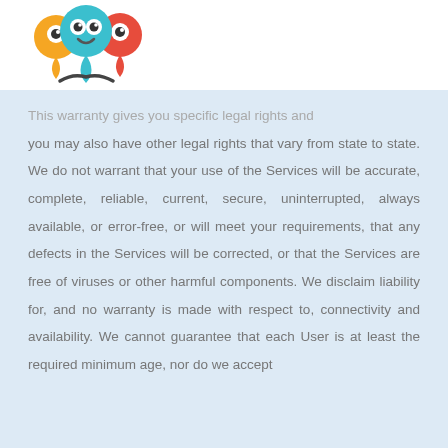[Figure (logo): App logo with three cartoon map pin characters - orange, teal/blue, and red - with a larger teal character in the center front]
This warranty gives you specific legal rights and you may also have other legal rights that vary from state to state. We do not warrant that your use of the Services will be accurate, complete, reliable, current, secure, uninterrupted, always available, or error-free, or will meet your requirements, that any defects in the Services will be corrected, or that the Services are free of viruses or other harmful components. We disclaim liability for, and no warranty is made with respect to, connectivity and availability. We cannot guarantee that each User is at least the required minimum age, nor do we accept